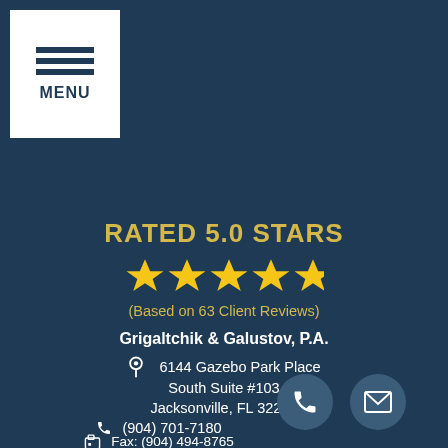[Figure (other): Menu button with three horizontal lines and MENU text]
RATED 5.0 STARS
[Figure (other): Five gold star rating icons]
(Based on 63 Client Reviews)
Grigaltchik & Galustov, P.A.
6144 Gazebo Park Place
South Suite #103
Jacksonville, FL 32257
(904) 701-7180
Fax: (904) 494-8765
Monday-Friday 9am - 5pm